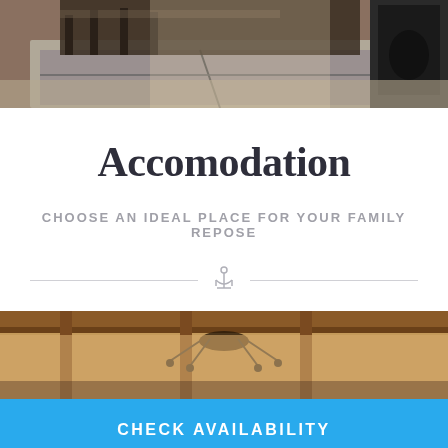[Figure (photo): Interior room photo showing wooden furniture, a large gray rug, and a wood-burning stove in the upper right corner]
Accomodation
CHOOSE AN IDEAL PLACE FOR YOUR FAMILY REPOSE
[Figure (illustration): Decorative anchor icon divider with horizontal lines on each side]
[Figure (photo): Interior photo showing rustic wooden ceiling beams and decorative iron chandelier]
CHECK AVAILABILITY